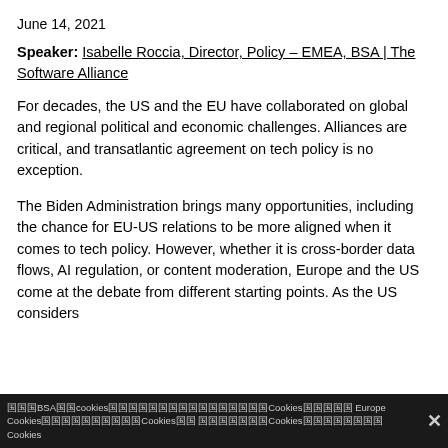June 14, 2021
Speaker: Isabelle Roccia, Director, Policy – EMEA, BSA | The Software Alliance
For decades, the US and the EU have collaborated on global and regional political and economic challenges. Alliances are critical, and transatlantic agreement on tech policy is no exception.
The Biden Administration brings many opportunities, including the chance for EU-US relations to be more aligned when it comes to tech policy. However, whether it is cross-border data flows, AI regulation, or content moderation, Europe and the US come at the debate from different starting points. As the US considers reform, BSA is closely monitoring the terms. Cookies … Europe works to develop the Digital Services Act, how will the…
BSA | cookies | Cookies | Cookies | Cookies | Cookies | Cookies | ×